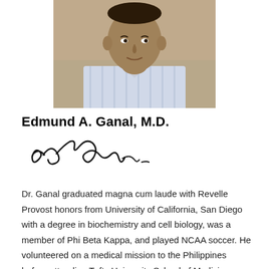[Figure (photo): Headshot photo of Edmund A. Ganal, M.D., a man in a striped shirt against a beige/tan background]
Edmund A. Ganal, M.D.
[Figure (illustration): Handwritten signature of Edmund A. Ganal]
Dr. Ganal graduated magna cum laude with Revelle Provost honors from University of California, San Diego with a degree in biochemistry and cell biology, was a member of Phi Beta Kappa, and played NCAA soccer. He volunteered on a medical mission to the Philippines before attending Tufts University School of Medicine on a